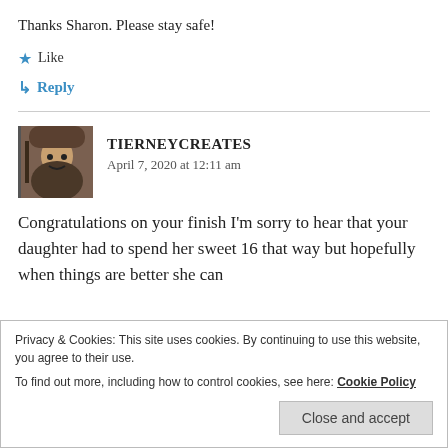Thanks Sharon. Please stay safe!
★ Like
↳ Reply
TIERNEYCREATES
April 7, 2020 at 12:11 am
Congratulations on your finish I'm sorry to hear that your daughter had to spend her sweet 16 that way but hopefully when things are better she can
Privacy & Cookies: This site uses cookies. By continuing to use this website, you agree to their use.
To find out more, including how to control cookies, see here: Cookie Policy
Close and accept